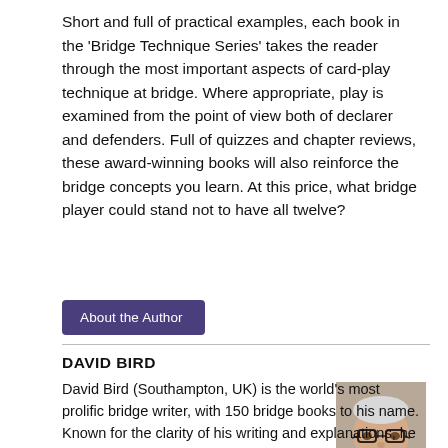Short and full of practical examples, each book in the 'Bridge Technique Series' takes the reader through the most important aspects of card-play technique at bridge. Where appropriate, play is examined from the point of view both of declarer and defenders. Full of quizzes and chapter reviews, these award-winning books will also reinforce the bridge concepts you learn. At this price, what bridge player could stand not to have all twelve?
About the Author
DAVID BIRD
David Bird (Southampton, UK) is the world's most prolific bridge writer, with 150 bridge books to his name. Known for the clarity of his writing and explanations, he has won the American Bridge Teachers' Association Book of the Year Award a record nine times. His celebrated humorous fiction series, featuring the cantankerous Abbot, has run for over 45 years.
[Figure (photo): Headshot photo of David Bird, an older man wearing glasses and a dark sweater with white collar, smiling.]